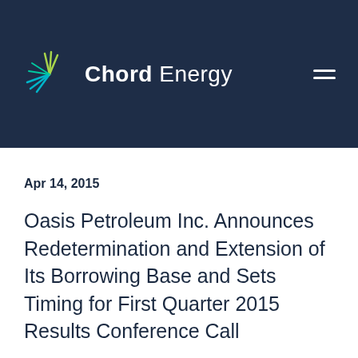[Figure (logo): Chord Energy logo with stylized leaf/plant icon in green and teal colors, white text 'Chord Energy' on dark navy background header]
Apr 14, 2015
Oasis Petroleum Inc. Announces Redetermination and Extension of Its Borrowing Base and Sets Timing for First Quarter 2015 Results Conference Call